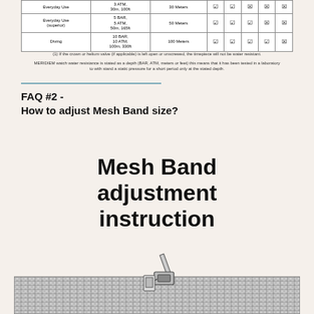|  | Pressure/Depth | Depth Equiv. | Splashing/Rain | Swimming | Snorkeling | Showering | Diving |
| --- | --- | --- | --- | --- | --- | --- | --- |
| Everyday Use | 3 ATM, 30m, 100ft | 30 Meters | ✔ | ✔ | ✘ | ✘ | ✘ |
| Everyday Use (superior) | 5 BAR, 5 ATM, 50m, 165ft | 50 Meters | ✔ | ✔ | ✔ | ✘ | ✘ |
| Diving | 10 BAR, 10 ATM, 100m, 330ft | 100 Meters | ✔ | ✔ | ✔ | ✔ | ✘ |
(1) If the crown or helium valve (if applicable) is left open or unscrewed, the timepiece will not be water resistant.
MERIDIEM watch water resistance is stated as a depth (BAR, ATM, meters or feet) this means that it has been tested in a laboratory to with stand a static pressure for a short period only at the stated depth.
FAQ #2 -
How to adjust Mesh Band size?
Mesh Band adjustment instruction
[Figure (illustration): Line drawing illustration of a mesh watch band being adjusted with a tool on a surface]